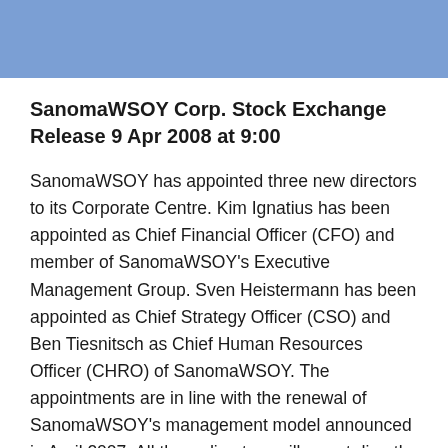SanomaWSOY Corp. Stock Exchange Release 9 Apr 2008 at 9:00
SanomaWSOY has appointed three new directors to its Corporate Centre. Kim Ignatius has been appointed as Chief Financial Officer (CFO) and member of SanomaWSOY's Executive Management Group. Sven Heistermann has been appointed as Chief Strategy Officer (CSO) and Ben Tiesnitsch as Chief Human Resources Officer (CHRO) of SanomaWSOY. The appointments are in line with the renewal of SanomaWSOY's management model announced in April 2007. All three directors will report directly to